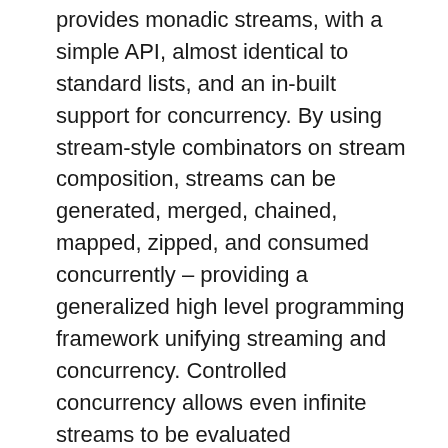provides monadic streams, with a simple API, almost identical to standard lists, and an in-built support for concurrency. By using stream-style combinators on stream composition, streams can be generated, merged, chained, mapped, zipped, and consumed concurrently – providing a generalized high level programming framework unifying streaming and concurrency. Controlled concurrency allows even infinite streams to be evaluated concurrently. Concurrency is auto scaled based on feedback from the stream consumer. The programmer does not have to be aware of threads, locking or synchronization to write scalable concurrent programs.
Streamly is a programmer first library, designed to be useful and friendly to